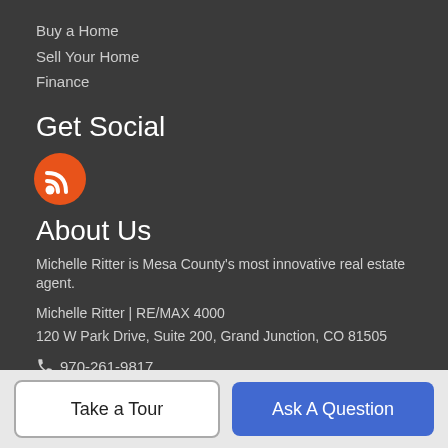Buy a Home
Sell Your Home
Finance
Get Social
[Figure (illustration): Orange circle with white RSS/wifi signal icon]
About Us
Michelle Ritter is Mesa County's most innovative real estate agent.
Michelle Ritter | RE/MAX 4000
120 W Park Drive, Suite 200, Grand Junction, CO 81505
📞 970-261-9817
© 2022 Grand Junction MLS. All Rights Reserved. IDX information
Take a Tour
Ask A Question